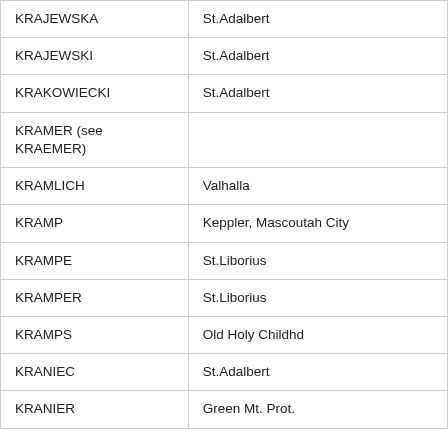| KRAJEWSKA | St.Adalbert |
| KRAJEWSKI | St.Adalbert |
| KRAKOWIECKI | St.Adalbert |
| KRAMER (see KRAEMER) |  |
| KRAMLICH | Valhalla |
| KRAMP | Keppler, Mascoutah City |
| KRAMPE | St.Liborius |
| KRAMPER | St.Liborius |
| KRAMPS | Old Holy Childhd |
| KRANIEC | St.Adalbert |
| KRANIER | Green Mt. Prot. |